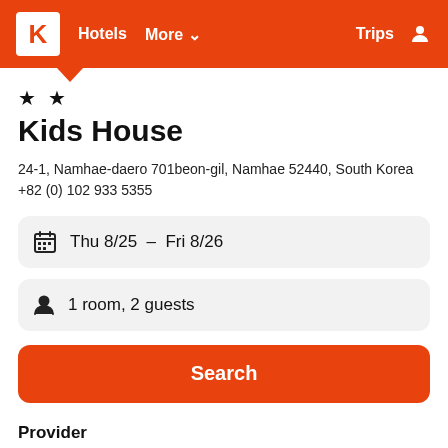K  Hotels  More  Trips
★★
Kids House
24-1, Namhae-daero 701beon-gil, Namhae 52440, South Korea
+82 (0) 102 933 5355
Thu 8/25  -  Fri 8/26
1 room, 2 guests
Search
Provider